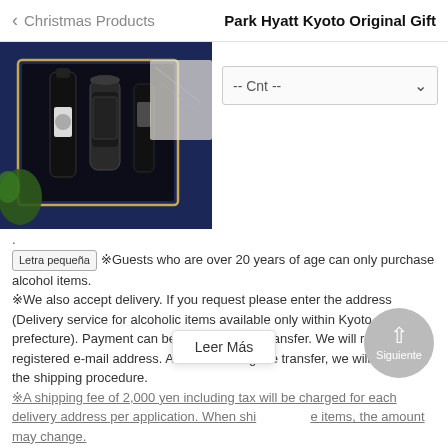Christmas Products  Park Hyatt Kyoto Original Gift
[Figure (photo): Top-down photo of Park Hyatt Kyoto gift box with bottles and luxury items on a dark tray with gold trim, placed on a blue fabric surface with green accents]
-- Cnt -- (dropdown)
.
Letra pequeña  ※Guests who are over 20 years of age can only purchase alcohol items.
※We also accept delivery. If you request please enter the address (Delivery service for alcoholic items available only within Kyoto prefecture). Payment can be made by bank transfer. We will reply to your registered e-mail address. After confirming the transfer, we will carry out the shipping procedure.
※A shipping fee of 2,000 yen including tax will be charged for each delivery address per application. When shi  e items, the amount may change.
Leer Más
Siguiente
KI NO BI Blue Dragon (700ml)
Park Hyatt Kyoto Original Craft Gin🍷